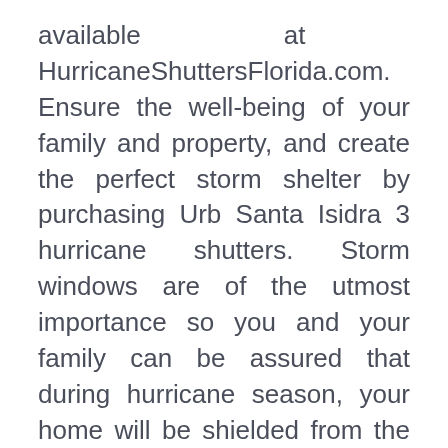available at HurricaneShuttersFlorida.com. Ensure the well-being of your family and property, and create the perfect storm shelter by purchasing Urb Santa Isidra 3 hurricane shutters. Storm windows are of the utmost importance so you and your family can be assured that during hurricane season, your home will be shielded from the storm with Urb Santa Isidra 3 hurricane shutters. If you want to protect your home with hurricane shutters Urb Santa Isidra 3 pounding weather will have a losing battle against, then custom order the storm panels you want immediately from HurricaneShuttersFlorida.com. Hurricane shutters can also double as protective storm windows against a tornado, so protect